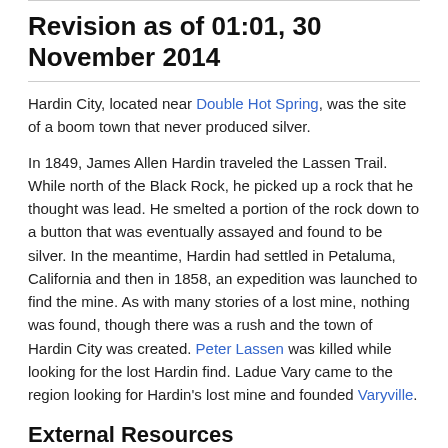Revision as of 01:01, 30 November 2014
Hardin City, located near Double Hot Spring, was the site of a boom town that never produced silver.
In 1849, James Allen Hardin traveled the Lassen Trail. While north of the Black Rock, he picked up a rock that he thought was lead. He smelted a portion of the rock down to a button that was eventually assayed and found to be silver. In the meantime, Hardin had settled in Petaluma, California and then in 1858, an expedition was launched to find the mine. As with many stories of a lost mine, nothing was found, though there was a rush and the town of Hardin City was created. Peter Lassen was killed while looking for the lost Hardin find. Ladue Vary came to the region looking for Hardin's lost mine and founded Varyville.
External Resources
GNIS Hardin City
Nell Murbarger, " Lost Hardin Silver, Mystery or Hoax?," pp. 9-12, Desert Magazine, April 1955.
Idah Meacham Strobridge, "In Miner's Mirage-Land," p. 70, Chapter "The rise and fall of Hardin City," 1904, Full text available from